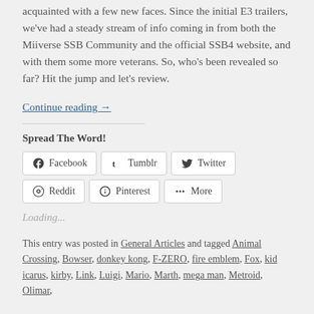acquainted with a few new faces. Since the initial E3 trailers, we've had a steady stream of info coming in from both the Miiverse SSB Community and the official SSB4 website, and with them some more veterans. So, who's been revealed so far? Hit the jump and let's review.
Continue reading →
Spread The Word!
Facebook  Tumblr  Twitter  Reddit  Pinterest  More
Loading...
This entry was posted in General Articles and tagged Animal Crossing, Bowser, donkey kong, F-ZERO, fire emblem, Fox, kid icarus, kirby, Link, Luigi, Mario, Marth, mega man, Metroid, Olimar,